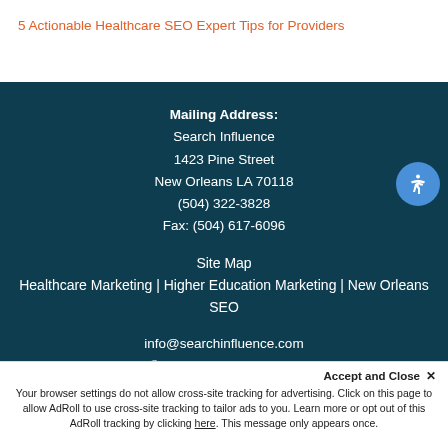5 Actionable Healthcare SEO Expert Tips for Providers
Mailing Address:
Search Influence
1423 Pine Street
New Orleans LA 70118
(504) 322-3828
Fax: (504) 617-6096
Site Map
Healthcare Marketing | Higher Education Marketing | New Orleans SEO
info@searchinfluence.com
© 2022 Search Influence
Accept and Close ×
Your browser settings do not allow cross-site tracking for advertising. Click on this page to allow AdRoll to use cross-site tracking to tailor ads to you. Learn more or opt out of this AdRoll tracking by clicking here. This message only appears once.